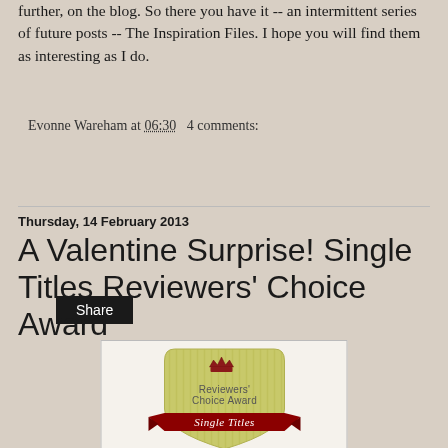further, on the blog.  So there you have it -- an intermittent series of future posts -- The Inspiration Files.  I hope you will find them as interesting as I do.
Evonne Wareham at 06:30   4 comments:
Share
Thursday, 14 February 2013
A Valentine Surprise! Single Titles Reviewers' Choice Award
[Figure (illustration): Reviewers' Choice Award badge for Single Titles - shield shape with green striped background, crown icon, text 'Reviewers' Choice Award' in grey, and red ribbon banner with 'Single Titles' in white italic script]